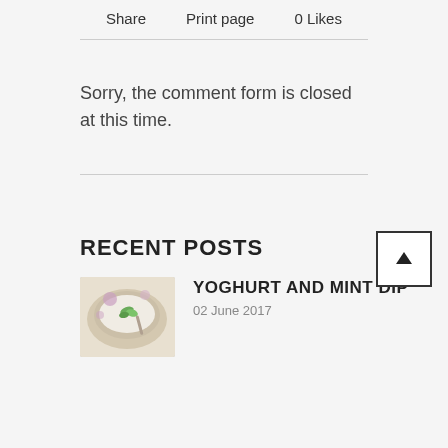Share   Print page   0 Likes
Sorry, the comment form is closed at this time.
RECENT POSTS
[Figure (photo): Thumbnail of yoghurt and mint dip dish]
YOGHURT AND MINT DIP
02 June 2017